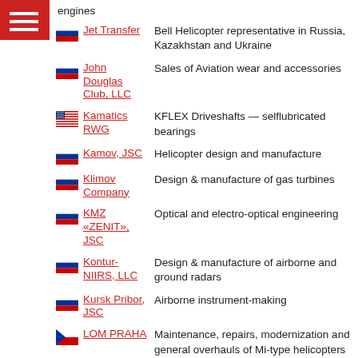Jet Transfer | Bell Helicopter representative in Russia, Kazakhstan and Ukraine
John Douglas Club, LLC | Sales of Aviation wear and accessories
Kamatics RWG | KFLEX Driveshafts — selflubricated bearings
Kamov, JSC | Helicopter design and manufacture
Klimov Company | Design & manufacture of gas turbines
KMZ «ZENIT», JSC | Optical and electro-optical engineering
Kontur-NIIRS, LLC | Design & manufacture of airborne and ground radars
Kursk Pribor, JSC | Airborne instrument-making
LOM PRAHA | Maintenance, repairs, modernization and general overhauls of Mi-type helicopters and its components
MDAeroGroup, LLC | Sales & maintenance of helicopters
Merlinhawk | (partial)